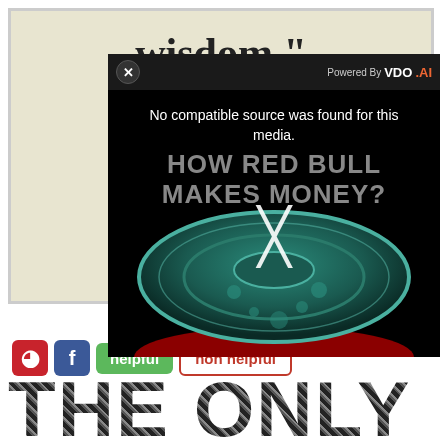[Figure (screenshot): Background image showing partial quote ending in 'wisdom.' on a vintage/aged paper background]
[Figure (screenshot): Video player overlay with dark background showing 'No compatible source was found for this media.' message and 'HOW RED BULL MAKES MONEY?' text over an image of a Red Bull can top. Has a close (x) button and 'Powered By VDO.AI' label. An X symbol appears over the video thumbnail.]
[Figure (screenshot): Pinterest and Facebook social share buttons followed by 'helpful' (green) and 'non helpful' (red outline) buttons]
THE ONLY